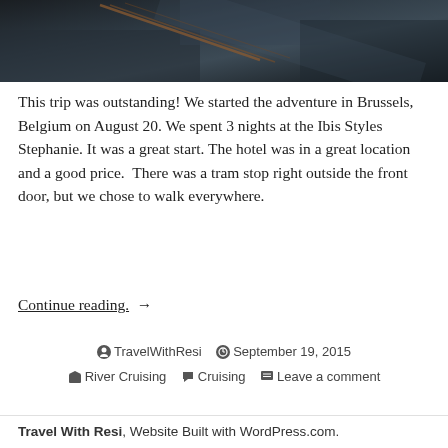[Figure (photo): Dark photograph showing ropes or rigging, likely on a boat/ship, dark blue-grey tones]
This trip was outstanding! We started the adventure in Brussels, Belgium on August 20. We spent 3 nights at the Ibis Styles Stephanie. It was a great start. The hotel was in a great location and a good price.  There was a tram stop right outside the front door, but we chose to walk everywhere.
Continue reading.  →
TravelWithResi  September 19, 2015  River Cruising  Cruising  Leave a comment
Travel With Resi, Website Built with WordPress.com.